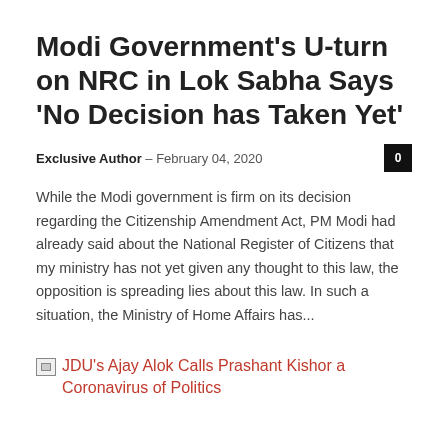Modi Government's U-turn on NRC in Lok Sabha Says 'No Decision has Taken Yet'
Exclusive Author — February 04, 2020
While the Modi government is firm on its decision regarding the Citizenship Amendment Act, PM Modi had already said about the National Register of Citizens that my ministry has not yet given any thought to this law, the opposition is spreading lies about this law. In such a situation, the Ministry of Home Affairs has...
[Figure (other): Broken image placeholder followed by link text: JDU's Ajay Alok Calls Prashant Kishor a Coronavirus of Politics]